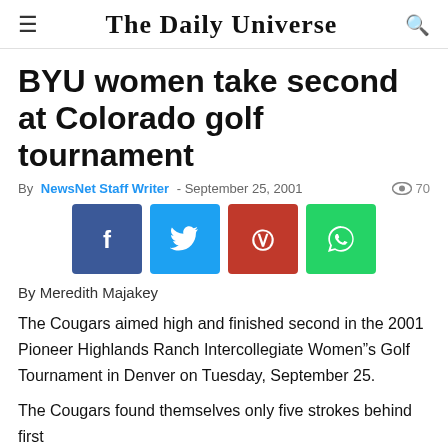The Daily Universe
BYU women take second at Colorado golf tournament
By NewsNet Staff Writer - September 25, 2001  70
[Figure (infographic): Social media sharing buttons: Facebook (blue), Twitter (light blue), Pinterest (red), WhatsApp (green)]
By Meredith Majakey
The Cougars aimed high and finished second in the 2001 Pioneer Highlands Ranch Intercollegiate Women’s Golf Tournament in Denver on Tuesday, September 25.
The Cougars found themselves only five strokes behind first